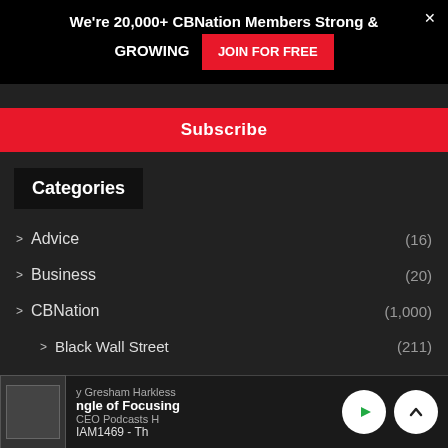We're 20,000+ CBNation Members Strong & GROWING  JOIN FOR FREE  ×
Subscribe
Categories
> Advice (16)
> Business (20)
> CBNation (1,000)
> Black Wall Street (211)
> DMV CEO (256)
> Healthy CEO (314)
y Gresham Harkless  CEO Podcasts H  ngle of Focusing  IAM1469 - Th